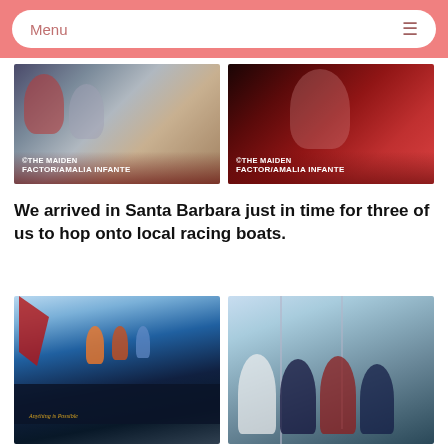Menu
[Figure (photo): Crew members on the deck of a sailboat, with orange and red sails visible. Text overlay: ©THE MAIDEN FACTOR/AMALIA INFANTE]
[Figure (photo): Person smiling inside the cabin of a boat under red/dark lighting. Text overlay: ©THE MAIDEN FACTOR/AMALIA INFANTE]
We arrived in Santa Barbara just in time for three of us to hop onto local racing boats.
[Figure (photo): Children in life jackets standing on the bow of a dark-hulled sailboat named 'Anything is Possible' with red sails and blue sky]
[Figure (photo): Group of four adults posing together smiling at a marina with sailboat masts in the background]
[Figure (photo): Partial view of people on a sailboat at a marina, blue sky]
[Figure (photo): Partial view of sailboat masts at a marina, light blue sky]